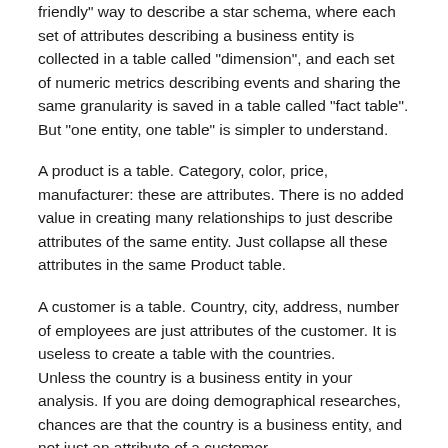friendly" way to describe a star schema, where each set of attributes describing a business entity is collected in a table called “dimension”, and each set of numeric metrics describing events and sharing the same granularity is saved in a table called “fact table”. But “one entity, one table” is simpler to understand.
A product is a table. Category, color, price, manufacturer: these are attributes. There is no added value in creating many relationships to just describe attributes of the same entity. Just collapse all these attributes in the same Product table.
A customer is a table. Country, city, address, number of employees are just attributes of the customer. It is useless to create a table with the countries.
Unless the country is a business entity in your analysis. If you are doing demographical researches, chances are that the country is a business entity, and not just an attribute of a customer.